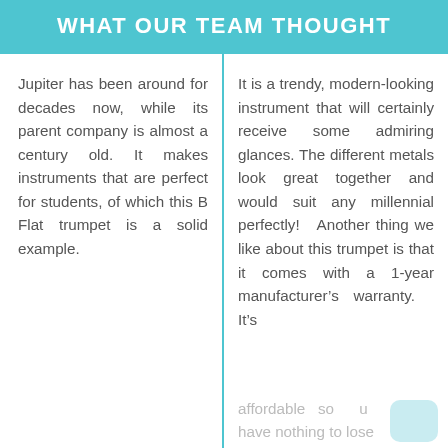WHAT OUR TEAM THOUGHT
Jupiter has been around for decades now, while its parent company is almost a century old. It makes instruments that are perfect for students, of which this B Flat trumpet is a solid example.
It is a trendy, modern-looking instrument that will certainly receive some admiring glances. The different metals look great together and would suit any millennial perfectly! Another thing we like about this trumpet is that it comes with a 1-year manufacturer’s warranty. It’s affordable so you have nothing to lose